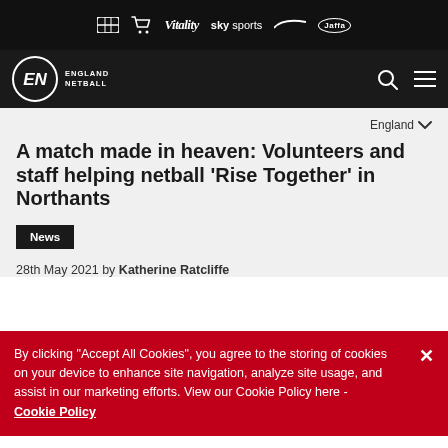Sponsor bar: Vitality, sky sports, Nike, Jaffa
England Netball navigation bar
England
A match made in heaven: Volunteers and staff helping netball ‘Rise Together’ in Northants
News
28th May 2021 by Katherine Ratcliffe
By clicking "Accept All Cookies", you agree to the storing of cookies on your device to enhance site navigation, analyze site usage, and assist in our marketing efforts. View our Cookie Policy here - Cookie Policy